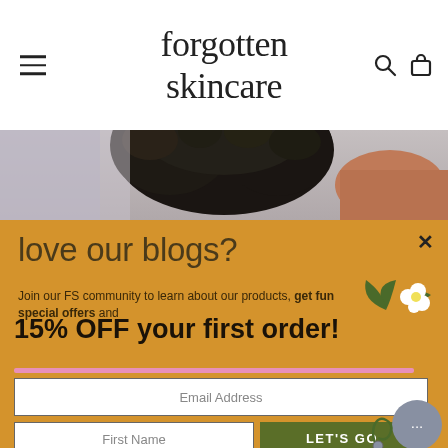forgotten skincare
[Figure (photo): Close-up photo of a person with natural curly black hair, background is light purple/gray]
love our blogs?
Join our FS community to learn about our products, get fun special offers and
15% OFF your first order!
Email Address
First Name
LET'S GO